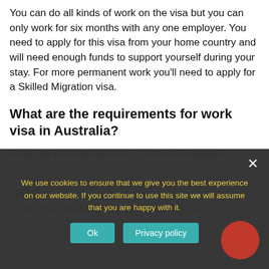You can do all kinds of work on the visa but you can only work for six months with any one employer. You need to apply for this visa from your home country and will need enough funds to support yourself during your stay. For more permanent work you'll need to apply for a Skilled Migration visa.
What are the requirements for work visa in Australia?
What are the requirements to work in Australia?
apply.
You must possess adequate ability in the
We use cookies to ensure that we give you the best experience on our website. If you continue to use this site we will assume that you are happy with it.